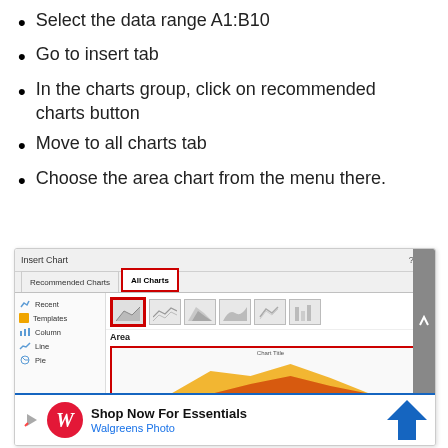Select the data range A1:B10
Go to insert tab
In the charts group, click on recommended charts button
Move to all charts tab
Choose the area chart from the menu there.
[Figure (screenshot): Screenshot of Excel Insert Chart dialog showing All Charts tab selected, area chart icons visible, with a Walgreens Photo advertisement overlay at the bottom.]